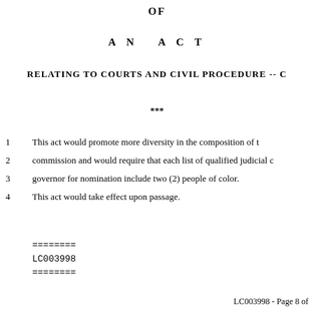OF
AN  ACT
RELATING TO COURTS AND CIVIL PROCEDURE -- C
***
1    This act would promote more diversity in the composition of t
2    commission and would require that each list of qualified judicial c
3    governor for nomination include two (2) people of color.
4    This act would take effect upon passage.
========
LC003998
========
LC003998 - Page 8 of